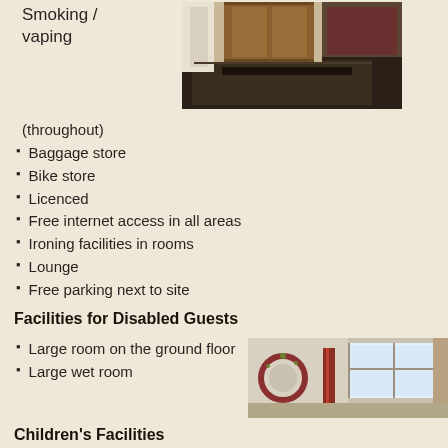Smoking / vaping
[Figure (photo): Hotel corridor or room entrance area with wooden furniture and dark carpet]
(throughout)
Baggage store
Bike store
Licenced
Free internet access in all areas
Ironing facilities in rooms
Lounge
Free parking next to site
Facilities for Disabled Guests
Large room on the ground floor
Large wet room
[Figure (photo): Interior room with window and decorative items]
Children's Facilities